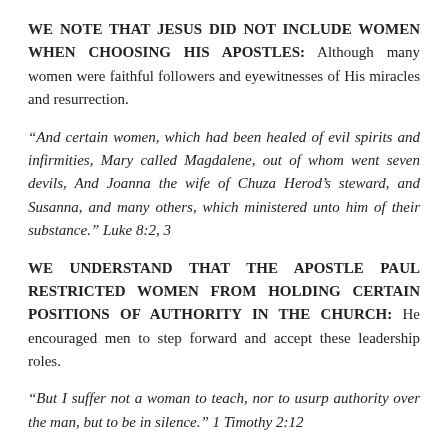WE NOTE THAT JESUS DID NOT INCLUDE WOMEN WHEN CHOOSING HIS APOSTLES: Although many women were faithful followers and eyewitnesses of His miracles and resurrection.
“And certain women, which had been healed of evil spirits and infirmities, Mary called Magdalene, out of whom went seven devils, And Joanna the wife of Chuza Herod’s steward, and Susanna, and many others, which ministered unto him of their substance.” Luke 8:2, 3
WE UNDERSTAND THAT THE APOSTLE PAUL RESTRICTED WOMEN FROM HOLDING CERTAIN POSITIONS OF AUTHORITY IN THE CHURCH: He encouraged men to step forward and accept these leadership roles.
“But I suffer not a woman to teach, nor to usurp authority over the man, but to be in silence.” 1 Timothy 2:12